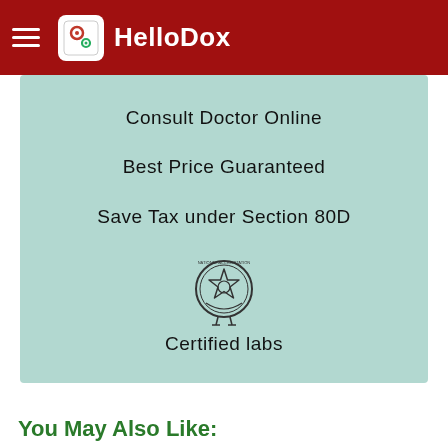HelloDox
Consult Doctor Online
Best Price Guaranteed
Save Tax under Section 80D
[Figure (logo): Certified labs seal/stamp icon — circular emblem with star and laurel wreath]
Certified labs
You May Also Like: